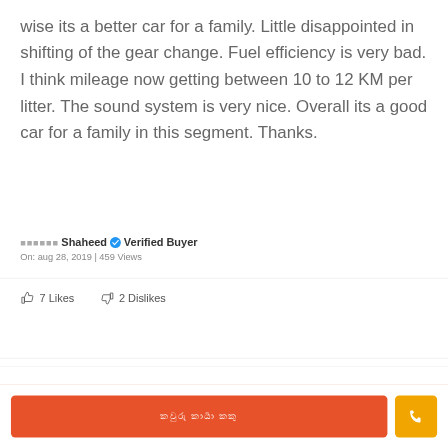wise its a better car for a family. Little disappointed in shifting of the gear change. Fuel efficiency is very bad. I think mileage now getting between 10 to 12 KM per litter. The sound system is very nice. Overall its a good car for a family in this segment. Thanks.
Shaheed ✓ Verified Buyer
On: aug 28, 2019 | 459 Views
7 Likes   2 Dislikes
button text in regional script